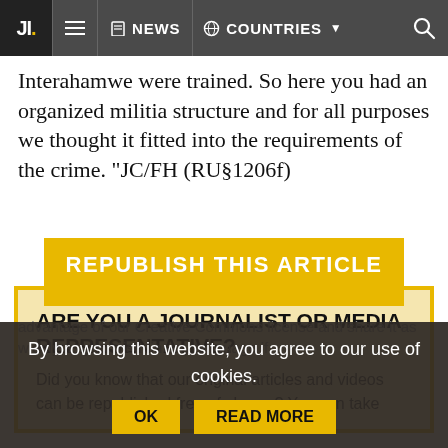JI. NEWS COUNTRIES
Interahamwe were trained. So here you had an organized militia structure and for all purposes we thought it fitted into the requirements of the crime. "JC/FH (RU§1206f)
REPUBLISH THIS ARTICLE
ARE YOU A JOURNALIST OR MEDIA REPRESENTATIVE?
Did you know that our original articles and videos can be republished free of charge? You can take advantage of our Creative Commons license and share it as widely as you wish, in any language if necessary. Just click on the yellow 'Republish
By browsing this website, you agree to our use of cookies. OK READ MORE